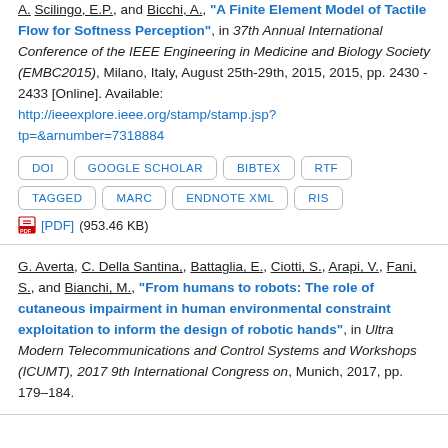A. Scilingo, E.P., and Bicchi, A., "A Finite Element Model of Tactile Flow for Softness Perception", in 37th Annual International Conference of the IEEE Engineering in Medicine and Biology Society (EMBC2015), Milano, Italy, August 25th-29th, 2015, 2015, pp. 2430 - 2433 [Online]. Available: http://ieeexplore.ieee.org/stamp/stamp.jsp?tp=&arnumber=7318884
DOI
GOOGLE SCHOLAR
BIBTEX
RTF
TAGGED
MARC
ENDNOTE XML
RIS
[PDF] (953.46 KB)
G. Averta, C. Della Santina,, Battaglia, E., Ciotti, S., Arapi, V., Fani, S., and Bianchi, M., "From humans to robots: The role of cutaneous impairment in human environmental constraint exploitation to inform the design of robotic hands", in Ultra Modern Telecommunications and Control Systems and Workshops (ICUMT), 2017 9th International Congress on, Munich, 2017, pp. 179–184.